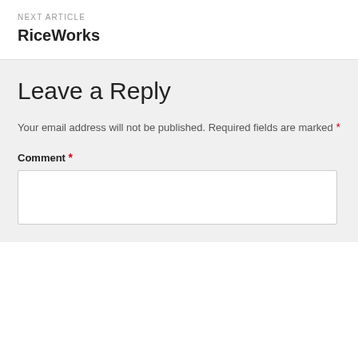NEXT ARTICLE
RiceWorks
Leave a Reply
Your email address will not be published. Required fields are marked *
Comment *